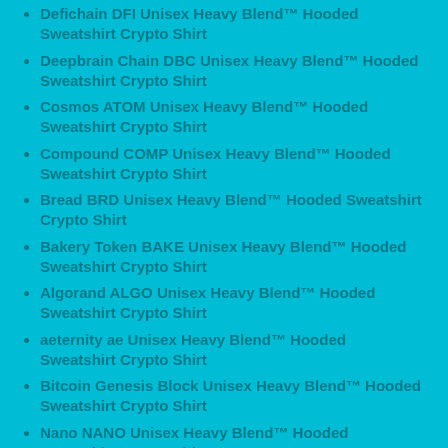Defichain DFI Unisex Heavy Blend™ Hooded Sweatshirt Crypto Shirt
Deepbrain Chain DBC Unisex Heavy Blend™ Hooded Sweatshirt Crypto Shirt
Cosmos ATOM Unisex Heavy Blend™ Hooded Sweatshirt Crypto Shirt
Compound COMP Unisex Heavy Blend™ Hooded Sweatshirt Crypto Shirt
Bread BRD Unisex Heavy Blend™ Hooded Sweatshirt Crypto Shirt
Bakery Token BAKE Unisex Heavy Blend™ Hooded Sweatshirt Crypto Shirt
Algorand ALGO Unisex Heavy Blend™ Hooded Sweatshirt Crypto Shirt
aeternity ae Unisex Heavy Blend™ Hooded Sweatshirt Crypto Shirt
Bitcoin Genesis Block Unisex Heavy Blend™ Hooded Sweatshirt Crypto Shirt
Nano NANO Unisex Heavy Blend™ Hooded Sweatshirt Crypto Shirt
Neo NEO Unisex Heavy Blend™ Hooded Sweatshirt Crypto Shirt
Hashgraph Unisex Jersey Short Sleeve Tee Crypto Shirt
Blockchain vs Hashgraph Unisex Jersey Short Sleeve Tee Crypto Shirt
Bitcoin Genesis Block Unisex Jersey Short Sleeve Tee Crypto Shirt